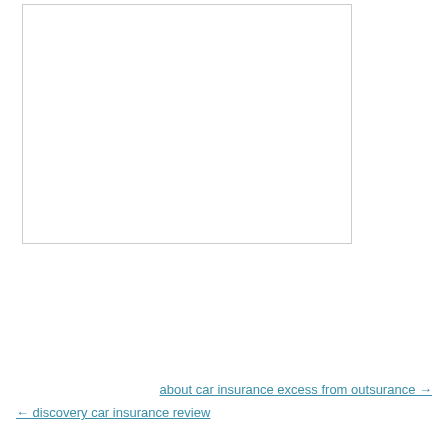[Figure (other): White rectangular image placeholder with light gray border]
about car insurance excess from outsurance →
← discovery car insurance review